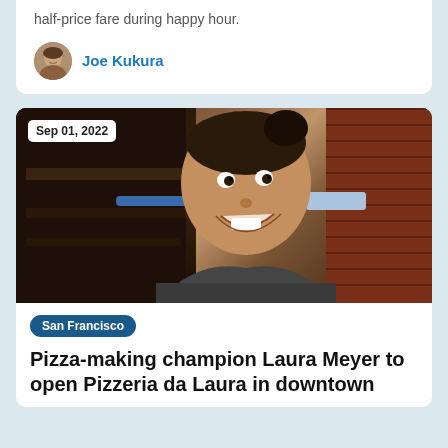half-price fare during happy hour.
Joe Kukura
[Figure (photo): Photo of a woman smiling energetically in front of a pizza oven with brick wall background, dated Sep 01, 2022]
Sep 01, 2022
San Francisco
Pizza-making champion Laura Meyer to open Pizzeria da Laura in downtown